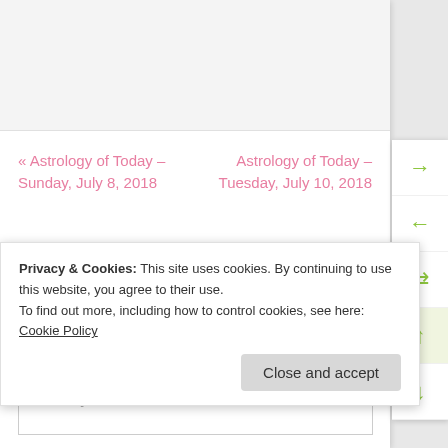[Figure (screenshot): Gray top banner area of a blog/website page]
« Astrology of Today – Sunday, July 8, 2018
Astrology of Today – Tuesday, July 10, 2018
Leave a Reply
Enter your comment here...
Privacy & Cookies: This site uses cookies. By continuing to use this website, you agree to their use.
To find out more, including how to control cookies, see here: Cookie Policy
Close and accept